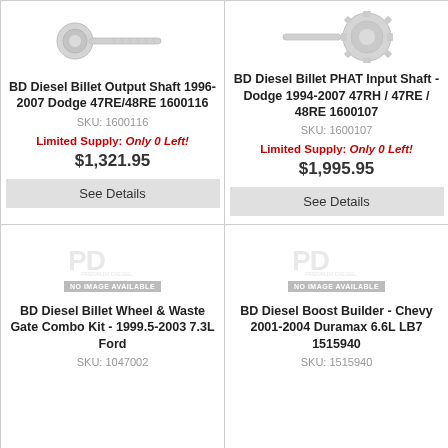[Figure (photo): BD Diesel Billet Output Shaft product image]
BD Diesel Billet Output Shaft 1996-2007 Dodge 47RE/48RE 1600116
SKU: 1600116
Limited Supply: Only 0 Left!
$1,321.95
See Details
[Figure (photo): BD Diesel Billet PHAT Input Shaft product image]
BD Diesel Billet PHAT Input Shaft - Dodge 1994-2007 47RH / 47RE / 48RE 1600107
SKU: 1600107
Limited Supply: Only 0 Left!
$1,995.95
See Details
[Figure (photo): No image available placeholder with PD logo - BD Diesel Billet Wheel & Waste Gate Combo Kit]
BD Diesel Billet Wheel & Waste Gate Combo Kit - 1999.5-2003 7.3L Ford
SKU: 1047002
[Figure (photo): No image available placeholder with PD logo - BD Diesel Boost Builder]
BD Diesel Boost Builder - Chevy 2001-2004 Duramax 6.6L LB7 1515940
SKU: 1515940